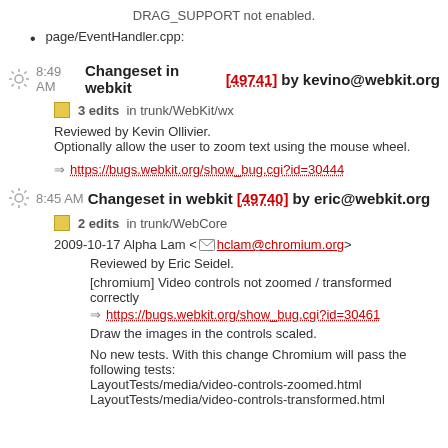DRAG_SUPPORT not enabled.
page/EventHandler.cpp:
8:49 AM Changeset in webkit [49741] by kevino@webkit.org
3 edits in trunk/WebKit/wx
Reviewed by Kevin Ollivier.
Optionally allow the user to zoom text using the mouse wheel.
https://bugs.webkit.org/show_bug.cgi?id=30444
8:45 AM Changeset in webkit [49740] by eric@webkit.org
2 edits in trunk/WebCore
2009-10-17 Alpha Lam <hclam@chromium.org>
Reviewed by Eric Seidel.
[chromium] Video controls not zoomed / transformed correctly
https://bugs.webkit.org/show_bug.cgi?id=30461
Draw the images in the controls scaled.
No new tests. With this change Chromium will pass the following tests:
LayoutTests/media/video-controls-zoomed.html
LayoutTests/media/video-controls-transformed.html